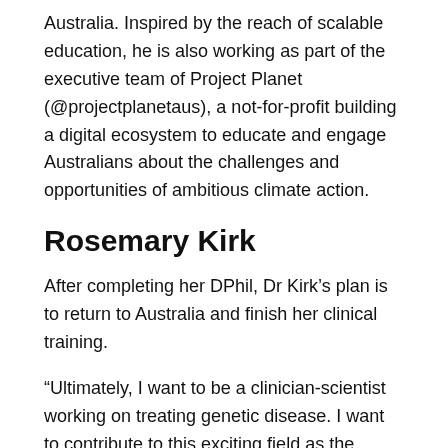Australia. Inspired by the reach of scalable education, he is also working as part of the executive team of Project Planet (@projectplanetaus), a not-for-profit building a digital ecosystem to educate and engage Australians about the challenges and opportunities of ambitious climate action.
Rosemary Kirk
After completing her DPhil, Dr Kirk's plan is to return to Australia and finish her clinical training.
“Ultimately, I want to be a clinician-scientist working on treating genetic disease. I want to contribute to this exciting field as the genetic revolution goes beyond genetic diagnosis to genetic treatments that can prevent or cure previously untreatable diseases. I also want to contribute to the research and...